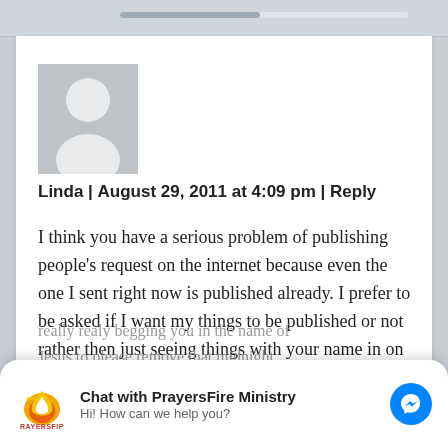[Figure (screenshot): Anonymous user avatar placeholder - grey square with white silhouette person icon]
Linda | August 29, 2011 at 4:09 pm | Reply
I think you have a serious problem of publishing people's request on the internet because even the one I sent right now is published already. I prefer to be asked if I want my things to be published or not rather then just seeing things with your name in on the
[Figure (screenshot): Chat widget for PrayersFire Ministry with logo, title 'Chat with PrayersFire Ministry', subtitle 'Hi! How can we help you?' and Messenger button]
really realy begging you in the name of Jesus to please remove that midnight